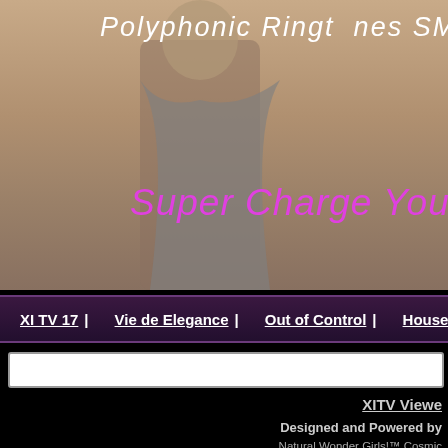[Figure (illustration): Banner image showing a woman in a grey draped outfit against a warm beige/tan background. Top text reads 'Polyphonic Ringtones   SMS   GPS   M3...' in white italic. Large pink/magenta italic text reads 'Super Charge Your Smart Pho...']
XI TV 17 | Vie de Elegance | Out of Control | House...
[Figure (other): White search bar input field]
XITV Viewe...
Designed and Powered by...
Natural Wonder Girls!™ Cosmic...
House of XI™ Intern...
are trademark...
Copyright © 2000 - 2022 Na...
R...